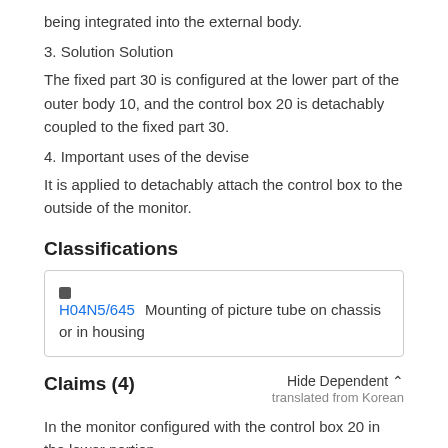being integrated into the external body.
3. Solution Solution
The fixed part 30 is configured at the lower part of the outer body 10, and the control box 20 is detachably coupled to the fixed part 30.
4. Important uses of the devise
It is applied to detachably attach the control box to the outside of the monitor.
Classifications
H04N5/645  Mounting of picture tube on chassis or in housing
Claims (4)
Hide Dependent ^
translated from Korean
In the monitor configured with the control box 20 in the lower portion